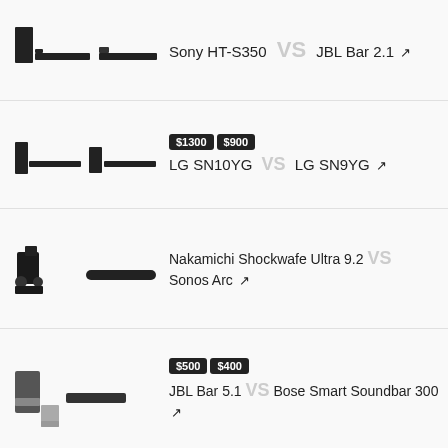[Figure (illustration): Sony HT-S350 soundbar and subwoofer product image alongside JBL Bar 2.1 soundbar]
Sony HT-S350 VS JBL Bar 2.1 ↗
[Figure (illustration): LG SN10YG soundbar with subwoofer and LG SN9YG soundbar with subwoofer]
$1300 $900 LG SN10YG VS LG SN9YG ↗
[Figure (illustration): Nakamichi Shockwafe Ultra 9.2 surround sound system with satellites and Sonos Arc soundbar]
Nakamichi Shockwafe Ultra 9.2 VS Sonos Arc ↗
[Figure (illustration): JBL Bar 5.1 soundbar with subwoofer and Bose Smart Soundbar 300]
$500 $400 JBL Bar 5.1 VS Bose Smart Soundbar 300 ↗